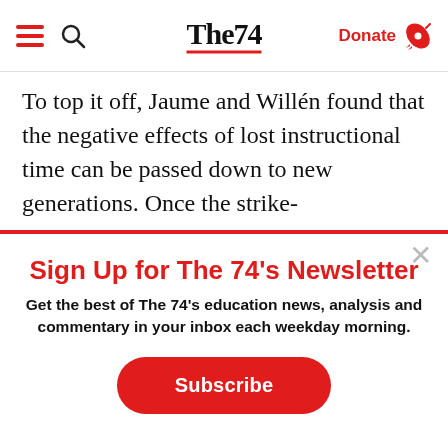The74 — Donate
To top it off, Jaume and Willén found that the negative effects of lost instructional time can be passed down to new generations. Once the strike-
Sign Up for The 74's Newsletter
Get the best of The 74's education news, analysis and commentary in your inbox each weekday morning.
Subscribe